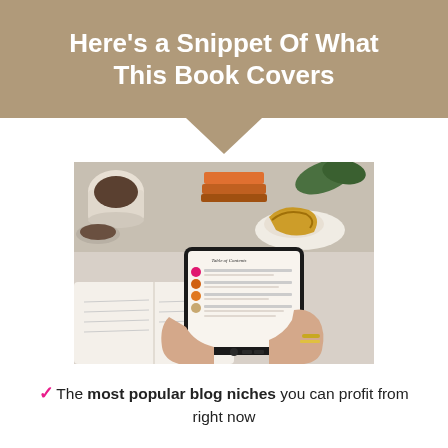Here's a Snippet Of What This Book Covers
[Figure (photo): Person holding a tablet/e-reader showing a table of contents, on a desk with books, a coffee cup, and a croissant in the background.]
The most popular blog niches you can profit from right now